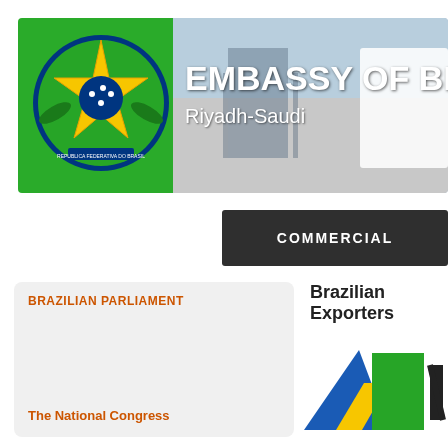[Figure (illustration): Embassy of Brazil banner with Brazilian coat of arms on green background on left, building photo on right, white text reading EMBASSY OF BR and Riyadh-Saudi]
COMMERCIAL
BRAZILIAN PARLIAMENT
Brazilian Exporters
The National Congress
[Figure (logo): Brazilian Exporters logo - blue triangle with yellow stripe and green rectangle, followed by partial dark letter N]